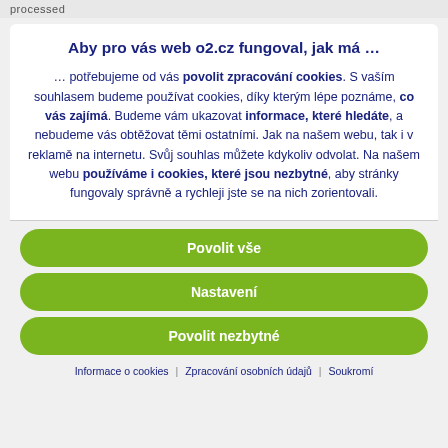processed
Aby pro vás web o2.cz fungoval, jak má …
… potřebujeme od vás povolit zpracování cookies. S vaším souhlasem budeme používat cookies, díky kterým lépe poznáme, co vás zajímá. Budeme vám ukazovat informace, které hledáte, a nebudeme vás obtěžovat těmi ostatními. Jak na našem webu, tak i v reklamě na internetu. Svůj souhlas můžete kdykoliv odvolat. Na našem webu používáme i cookies, které jsou nezbytné, aby stránky fungovaly správně a rychleji jste se na nich zorientovali.
Povolit vše
Nastavení
Povolit nezbytné
Informace o cookies  |  Zpracování osobních údajů  |  Soukromí